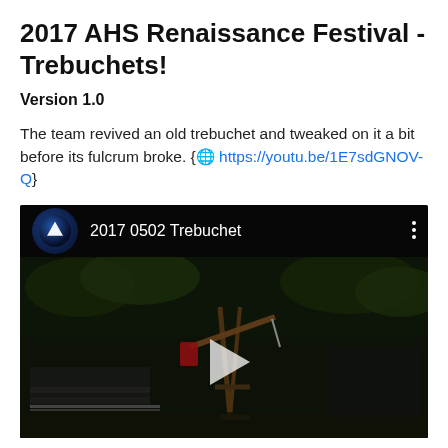2017 AHS Renaissance Festival - Trebuchets!
Version 1.0
The team revived an old trebuchet and tweaked on it a bit before its fulcrum broke. { https://youtu.be/1E7sdGNOV-Q}
[Figure (screenshot): Embedded YouTube video thumbnail showing '2017 0502 Trebuchet' with a dark outdoor scene of a trebuchet structure. The video header shows a blue star-trek style logo and the video title. A play button is visible in the center.]